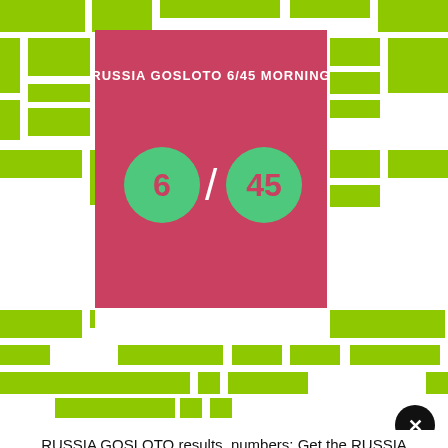[Figure (screenshot): Green block advertisement mosaic background with a central pink/red lottery card showing 'RUSSIA GOSLOTO 6/45 MORNING' with two green balls displaying numbers 6 and 45 separated by a slash, and a black close button (X) in the lower right corner.]
RUSSIA GOSLOTO results, numbers: Get the RUSSIA GOSLOTO results here
Hello there! Are you pumped up for the Russia GosLoto 6/45 Morning Daily Lotto draw on Saturday, 16 October? Get to stand yet another great chance and check out if you stood on the plane of erecting as one of Russia GosLoto’s latest Daily Lotto winners.